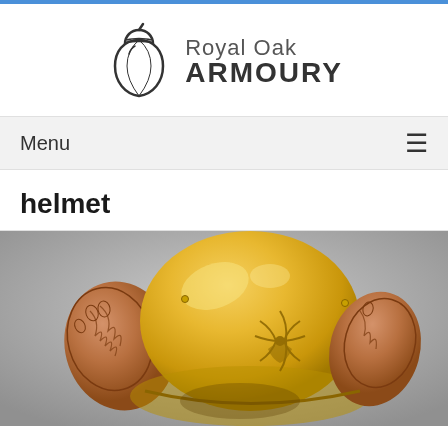[Figure (logo): Royal Oak Armoury logo with acorn icon and text 'Royal Oak ARMOURY']
Menu ≡
helmet
[Figure (photo): Photo of a decorative golden/brass helmet with copper wing-like cheek guards and engraved floral/palm patterns, displayed on a gray background]